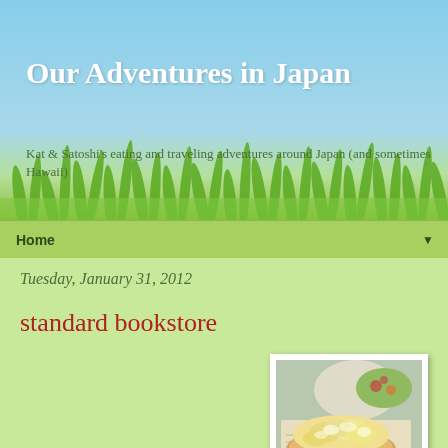Our Adventures in Japan
Kat & Satoshi's eating and traveling adventures around Japan (and sometimes Hawaii)
Home
Tuesday, January 31, 2012
standard bookstore
[Figure (photo): A photo of a hot dog or bread roll topped with a generous amount of egg salad or potato salad, served on newspaper-lined tray with a side salad visible in the background]